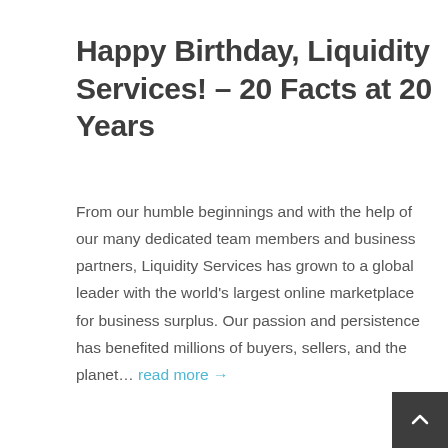Happy Birthday, Liquidity Services! – 20 Facts at 20 Years
From our humble beginnings and with the help of our many dedicated team members and business partners, Liquidity Services has grown to a global leader with the world's largest online marketplace for business surplus. Our passion and persistence has benefited millions of buyers, sellers, and the planet… read more →